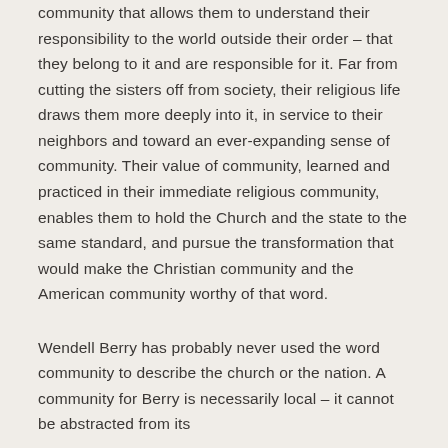community that allows them to understand their responsibility to the world outside their order – that they belong to it and are responsible for it. Far from cutting the sisters off from society, their religious life draws them more deeply into it, in service to their neighbors and toward an ever-expanding sense of community. Their value of community, learned and practiced in their immediate religious community, enables them to hold the Church and the state to the same standard, and pursue the transformation that would make the Christian community and the American community worthy of that word.
Wendell Berry has probably never used the word community to describe the church or the nation. A community for Berry is necessarily local – it cannot be abstracted from its